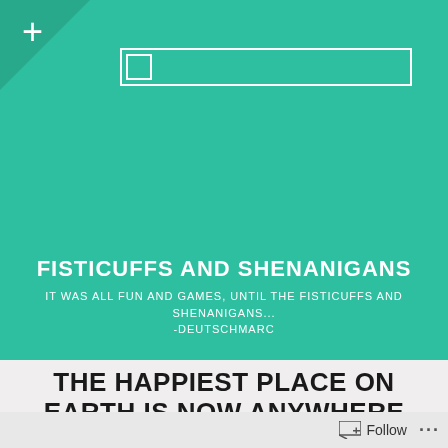[Figure (screenshot): Teal green blog header with a plus icon in the top-left corner and a white search bar below]
FISTICUFFS AND SHENANIGANS
IT WAS ALL FUN AND GAMES, UNTIL THE FISTICUFFS AND SHENANIGANS... -DEUTSCHMARC
THE HAPPIEST PLACE ON EARTH IS NOW ANYWHERE
[Figure (screenshot): WordPress Follow button and ellipsis menu in the bottom-right footer bar]